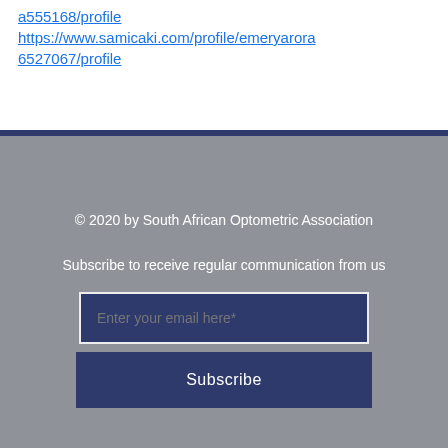https://www.samicaki.com/profile/emeryarora6527067/profile
[Figure (infographic): Social media icons: Instagram, Facebook, Twitter displayed in white on grey background]
© 2020 by South African Optometric Association
Subscribe to receive regular communication from us
Enter your email here*
Subscribe